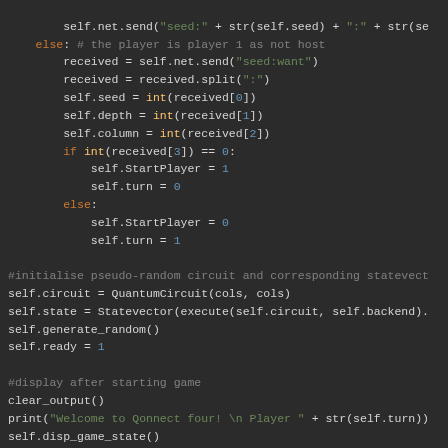[Figure (screenshot): Python source code snippet showing a network seed exchange, quantum circuit initialization, and display output logic in a dark-themed code editor.]